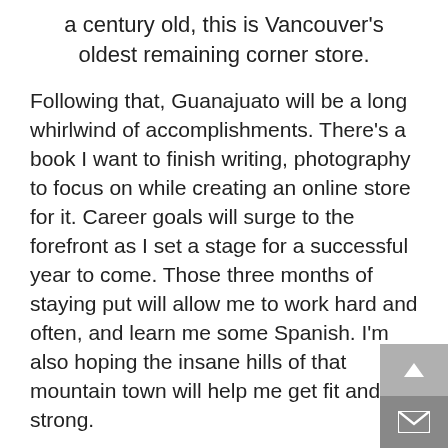a century old, this is Vancouver's oldest remaining corner store.
Following that, Guanajuato will be a long whirlwind of accomplishments. There’s a book I want to finish writing, photography to focus on while creating an online store for it. Career goals will surge to the forefront as I set a stage for a successful year to come. Those three months of staying put will allow me to work hard and often, and learn me some Spanish. I’m also hoping the insane hills of that mountain town will help me get fit and strong.
But as for being a tourist, that’s not really on my radar. With travel as life, it gets to the point where, yes, I want to see things, but every day I see something new anyhow. Is it some grand touristy adventure? Probably